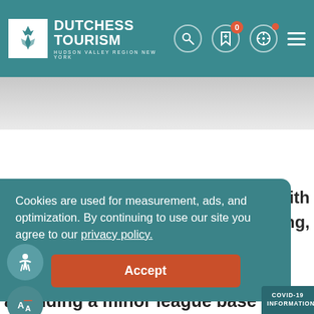Dutchess Tourism – Hudson Valley Region New York
[Figure (screenshot): Dutchess Tourism website header with logo, search icon, bookmark icon with badge '0', compass/location icon, and hamburger menu icon on teal background]
Cookies are used for measurement, ads, and optimization. By continuing to use our site you agree to our privacy policy.
Accept
attending a minor league base
with
ing,
COVID-19 INFORMATION